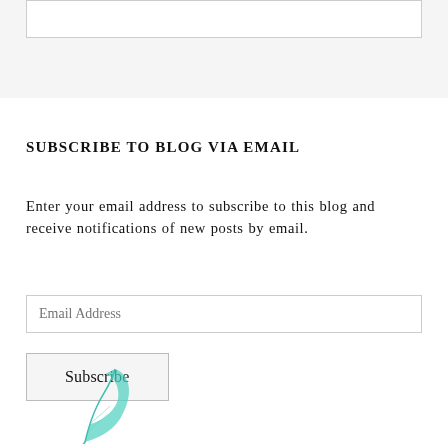SUBSCRIBE TO BLOG VIA EMAIL
Enter your email address to subscribe to this blog and receive notifications of new posts by email.
[Figure (other): Email address input field with placeholder text 'Email Address']
[Figure (other): Subscribe button]
[Figure (illustration): Teal/green decorative feather quill pen illustration at bottom of page]